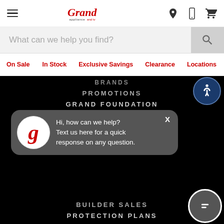[Figure (logo): Grand Appliance and TV logo with hamburger menu and icons for location, phone, and cart]
What can we help you find?
On Sale
In Stock
Exclusive Savings
Clearance
Locations
BRANDS
PROMOTIONS
GRAND FOUNDATION
RETURN & STORE POLICIES
Hi, how can we help? Text us here for a quick response on any question.
BUILDER SALES
PROTECTION PLANS